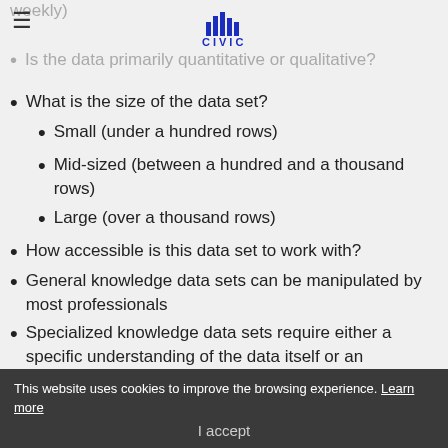CIVIC INNOVATION LAB
Is the data primarily quantitative or qualitative?
What is the size of the data set?
Small (under a hundred rows)
Mid-sized (between a hundred and a thousand rows)
Large (over a thousand rows)
How accessible is this data set to work with?
General knowledge data sets can be manipulated by most professionals
Specialized knowledge data sets require either a specific understanding of the data itself or an advanced knowledge of how to manipulate spreadsheets or GIS databases
The second criteria is...
This website uses cookies to improve the browsing experience. Learn more | I accept